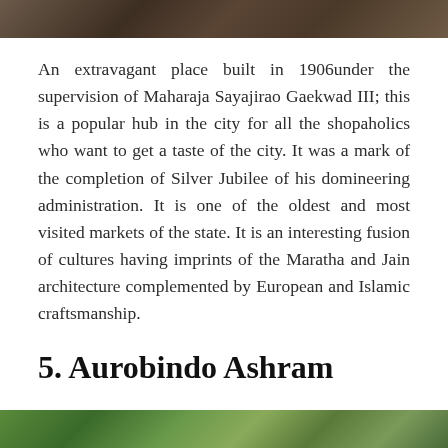[Figure (photo): Partial view of a historical building or market, shown at the top of the page]
An extravagant place built in 1906under the supervision of Maharaja Sayajirao Gaekwad III; this is a popular hub in the city for all the shopaholics who want to get a taste of the city. It was a mark of the completion of Silver Jubilee of his domineering administration. It is one of the oldest and most visited markets of the state. It is an interesting fusion of cultures having imprints of the Maratha and Jain architecture complemented by European and Islamic craftsmanship.
5. Aurobindo Ashram
[Figure (photo): Partial view of Aurobindo Ashram, showing trees and outdoor scenery at the bottom of the page]